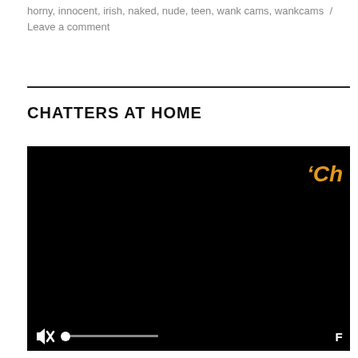horny, innocent, irish, naked, nude, teen, wank cams, wankcams / Leave a comment
CHATTERS AT HOME
[Figure (screenshot): Embedded video player showing a black screen with a logo watermark in the top-right corner reading 'Ch' in orange/yellow italic text, and video controls at the bottom including a mute icon, progress bar with dot, and fullscreen button.]